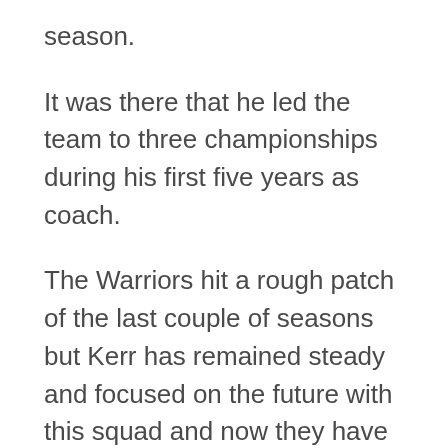season.
It was there that he led the team to three championships during his first five years as coach.
The Warriors hit a rough patch of the last couple of seasons but Kerr has remained steady and focused on the future with this squad and now they have returned to glory and are favorites to go to the Finals.
Kerr has nurtured and overseen the explosive career progressions of both Stephen Curry and Klay Thompson...